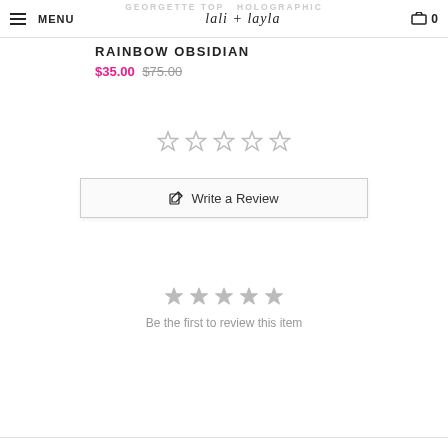MENU | lali + layla | 0
GEORGETTE TOP HOLOGRAPHIC
RAINBOW OBSIDIAN
$35.00 $75.00
[Figure (other): 5 empty star rating icons (outline only)]
[Figure (other): Write a Review button with edit icon]
[Figure (other): 5 filled gray star rating icons]
Be the first to review this item